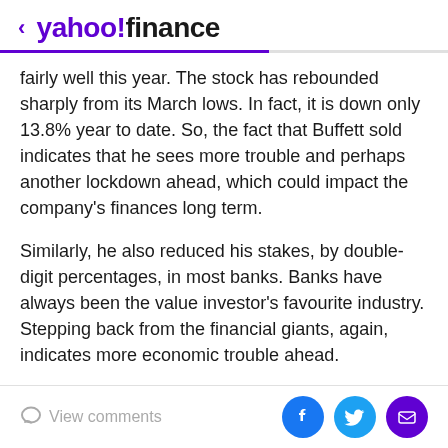< yahoo!finance
fairly well this year. The stock has rebounded sharply from its March lows. In fact, it is down only 13.8% year to date. So, the fact that Buffett sold indicates that he sees more trouble and perhaps another lockdown ahead, which could impact the company's finances long term.
Similarly, he also reduced his stakes, by double-digit percentages, in most banks. Banks have always been the value investor's favourite industry. Stepping back from the financial giants, again, indicates more economic trouble ahead.
Barrick Gold stock
View comments